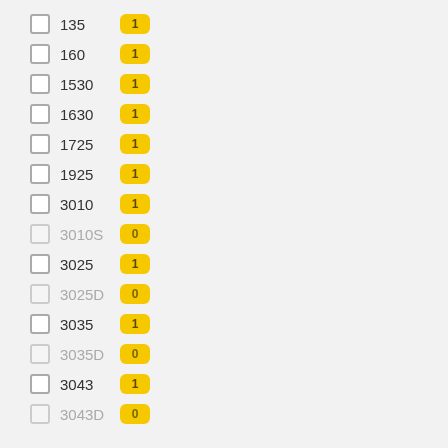135  1
160  1
1530  1
1630  1
1725  1
1925  1
3010  1
3010S  0
3025  1
3025D  0
3035  1
3035D  0
3043  1
3043D  0